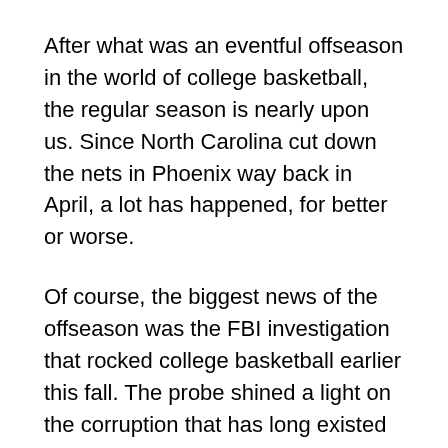After what was an eventful offseason in the world of college basketball, the regular season is nearly upon us. Since North Carolina cut down the nets in Phoenix way back in April, a lot has happened, for better or worse.
Of course, the biggest news of the offseason was the FBI investigation that rocked college basketball earlier this fall. The probe shined a light on the corruption that has long existed between schools, shoe companies and top recruits.
The hardest-hit school, of course, was the University of Louisville, which saw long-time coach Rick Pitino and athletic director Tom Jurich get the ax after alleged bribery between the school, Adidas